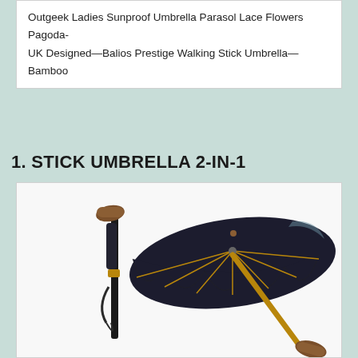Outgeek Ladies Sunproof Umbrella Parasol Lace Flowers Pagoda-
UK Designed—Balios Prestige Walking Stick Umbrella—Bamboo
1. STICK UMBRELLA 2-IN-1
[Figure (photo): Product photo showing a walking stick umbrella 2-in-1: on the left a folded black umbrella with a wooden cane handle and strap, and on the right an open large black umbrella with bronze/gold spokes and a cane handle at the bottom.]